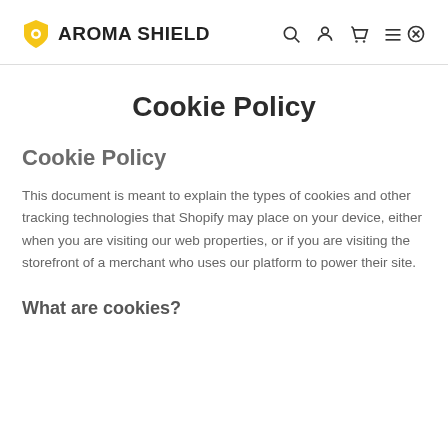AROMA SHIELD
Cookie Policy
Cookie Policy
This document is meant to explain the types of cookies and other tracking technologies that Shopify may place on your device, either when you are visiting our web properties, or if you are visiting the storefront of a merchant who uses our platform to power their site.
What are cookies?